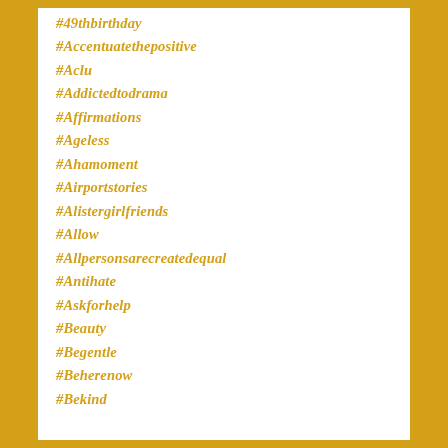#49thbirthday
#Accentuatethepositive
#Aclu
#Addictedtodrama
#Affirmations
#Ageless
#Ahamoment
#Airportstories
#Alistergirlfriends
#Allow
#Allpersonsarecreatedequal
#Antihate
#Askforhelp
#Beauty
#Begentle
#Beherenow
#Bekind